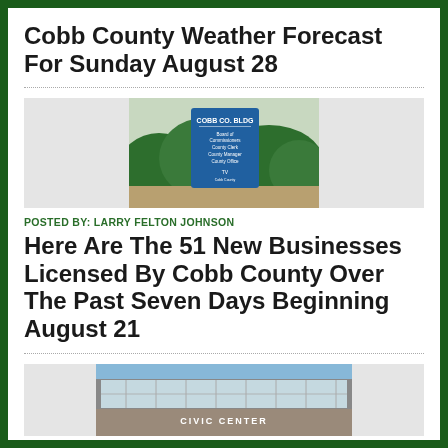Cobb County Weather Forecast For Sunday August 28
[Figure (photo): Blue Cobb County BLDG sign in front of green bushes, with text listing Board of Commissioners, County Clerk, County Manager, County Office, and a logo at the bottom]
POSTED BY: LARRY FELTON JOHNSON
Here Are The 51 New Businesses Licensed By Cobb County Over The Past Seven Days Beginning August 21
[Figure (photo): Exterior of a civic or government center building with large glass windows and a sign reading CIVIC CENTER]